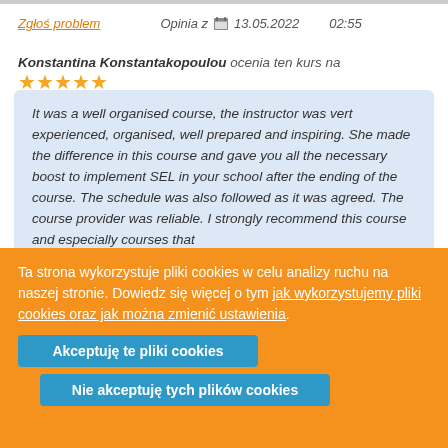Zgłoś problem   Opinia z  13.05.2022   02:55
Konstantina Konstantakopoulou ocenia ten kurs na ★★★★★
It was a well organised course, the instructor was vert experienced, organised, well prepared and inspiring. She made the difference in this course and gave you all the necessary boost to implement SEL in your school after the ending of the course. The schedule was also followed as it was agreed. The course provider was reliable. I strongly recommend this course and especially courses that
Ta strona wykorzystuje pliki cookies w celu analizy ruchu na naszej stronie. Dowiedz się więcej o tym jak wykorzystujemy pliki cookies oraz jak można zmienić ustawienia.
Akceptuję te pliki cookies
Nie akceptuję tych plików cookies